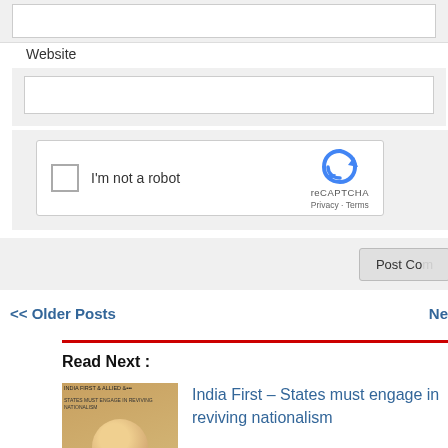[Figure (screenshot): Top portion of a web form showing a text input box (partially visible at top)]
Website
[Figure (screenshot): Website text input field (empty)]
[Figure (screenshot): reCAPTCHA widget with checkbox labeled 'I'm not a robot' and reCAPTCHA logo with Privacy - Terms links]
[Figure (screenshot): Post Comment button (partially visible on right edge)]
<< Older Posts
Ne...
Read Next :
[Figure (photo): Book cover thumbnail for 'India First - States must engage in reviving nationalism']
India First – States must engage in reviving nationalism